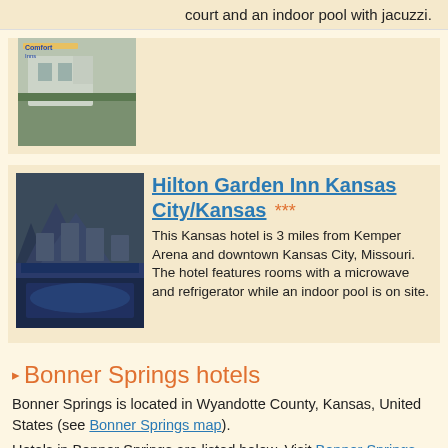court and an indoor pool with jacuzzi.
Comfort Inn ***
Welcome to the Comfort Inn, a Kansas City hotel located near the circuit Kansas.
[Figure (photo): Photo of Comfort Inn hotel exterior]
Hilton Garden Inn Kansas City/Kansas ***
This Kansas hotel is 3 miles from Kemper Arena and downtown Kansas City, Missouri. The hotel features rooms with a microwave and refrigerator while an indoor pool is on site.
[Figure (photo): Photo of Hilton Garden Inn hotel exterior with pool]
Bonner Springs hotels
Bonner Springs is located in Wyandotte County, Kansas, United States (see Bonner Springs map).
Hotels in Bonner Springs are listed below. Visit Bonner Springs map page for a detailed satellite map of Bonner Springs and related user contributed content.